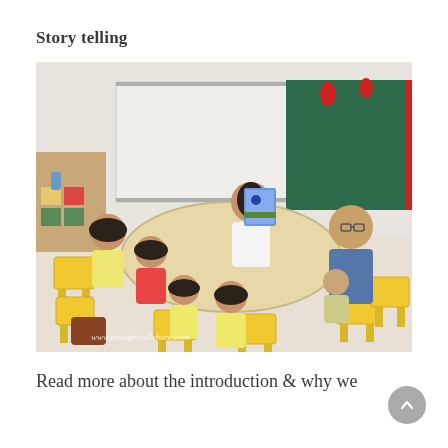Story telling
[Figure (photo): A classroom storytelling session with young children seated on yellow chairs around a round wooden table. A teacher in white holds up a picture book while another adult in blue sits across the table with a child on her lap. Several children in yellow shirts are seated attentively. A whiteboard and green chalkboard are visible in the background. A watermark reads: www.broughtup2share.com]
Read more about the introduction & why we